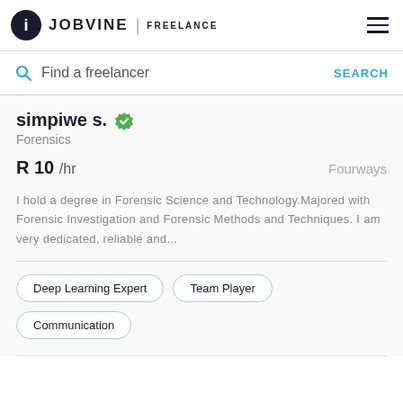JOBVINE | FREELANCE
Find a freelancer   SEARCH
simpiwe s.
Forensics
R 10 /hr   Fourways
I hold a degree in Forensic Science and Technology.Majored with Forensic Investigation and Forensic Methods and Techniques. I am very dedicated, reliable and...
Deep Learning Expert
Team Player
Communication